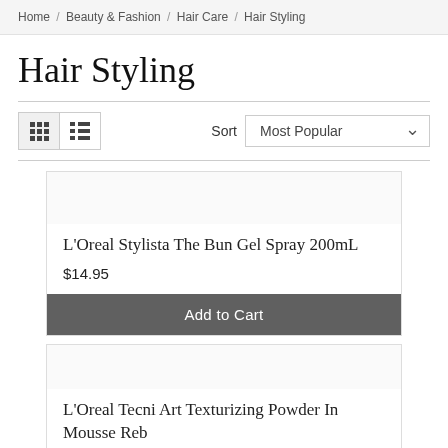Home / Beauty & Fashion / Hair Care / Hair Styling
Hair Styling
Sort  Most Popular
L'Oreal Stylista The Bun Gel Spray 200mL
$14.95
Add to Cart
L'Oreal Tecni Art Texturizing Powder In Mousse Reb